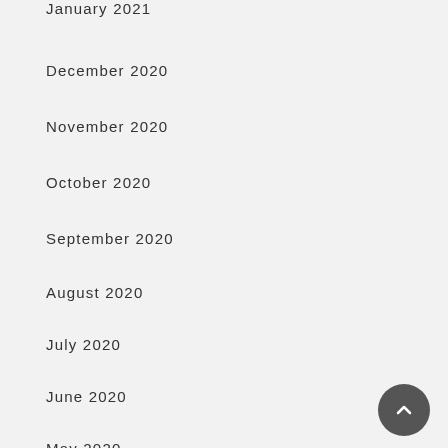January 2021
December 2020
November 2020
October 2020
September 2020
August 2020
July 2020
June 2020
May 2020
April 2020
March 2020
February 2020